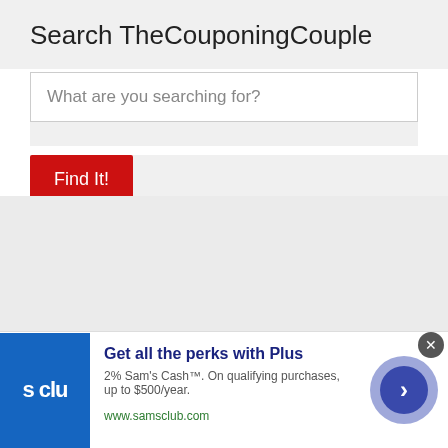Search TheCouponingCouple
What are you searching for?
Find It!
[Figure (screenshot): Gray rectangular ad placeholder area]
Get all the perks with Plus
2% Sam's Cash™. On qualifying purchases, up to $500/year.
www.samsclub.com